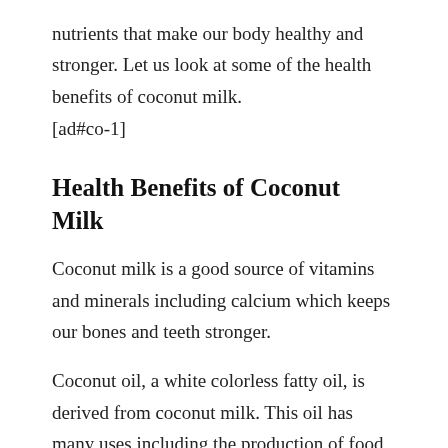nutrients that make our body healthy and stronger. Let us look at some of the health benefits of coconut milk.
[ad#co-1]
Health Benefits of Coconut Milk
Coconut milk is a good source of vitamins and minerals including calcium which keeps our bones and teeth stronger.
Coconut oil, a white colorless fatty oil, is derived from coconut milk. This oil has many uses including the production of food, soaps, cosmetics, and candles.